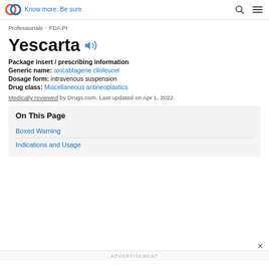Drugs.com — Know more. Be sure.
Professionals > FDA PI
Yescarta
Package insert / prescribing information
Generic name: axicabtagene ciloleucel
Dosage form: intravenous suspension
Drug class: Miscellaneous antineoplastics
Medically reviewed by Drugs.com. Last updated on Apr 1, 2022.
On This Page
Boxed Warning
Indications and Usage
ADVERTISEMENT